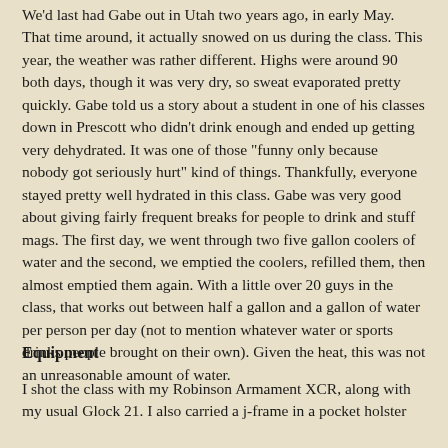We'd last had Gabe out in Utah two years ago, in early May. That time around, it actually snowed on us during the class. This year, the weather was rather different. Highs were around 90 both days, though it was very dry, so sweat evaporated pretty quickly. Gabe told us a story about a student in one of his classes down in Prescott who didn't drink enough and ended up getting very dehydrated. It was one of those "funny only because nobody got seriously hurt" kind of things. Thankfully, everyone stayed pretty well hydrated in this class. Gabe was very good about giving fairly frequent breaks for people to drink and stuff mags. The first day, we went through two five gallon coolers of water and the second, we emptied the coolers, refilled them, then almost emptied them again. With a little over 20 guys in the class, that works out between half a gallon and a gallon of water per person per day (not to mention whatever water or sports drinks people brought on their own). Given the heat, this was not an unreasonable amount of water.
Equipment
I shot the class with my Robinson Armament XCR, along with my usual Glock 21. I also carried a j-frame in a pocket holster